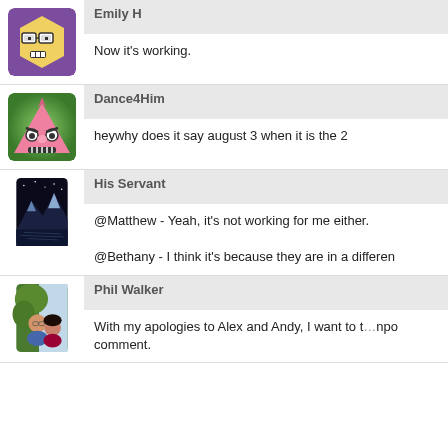[Figure (illustration): Avatar: cartoon hexagon face with glasses on purple background]
Emily H
Now it's working.
[Figure (illustration): Avatar: angry cartoon triangle face on green background]
Dance4Him
heywhy does it say august 3 when it is the 2
[Figure (photo): Avatar: landscape photo of mountain and lake at night]
His Servant
@Matthew - Yeah, it's not working for me either.
@Bethany - I think it's because they are in a differen
[Figure (photo): Avatar: photo of two people (man and woman) outdoors]
Phil Walker
With my apologies to Alex and Andy, I want to t...npo comment.